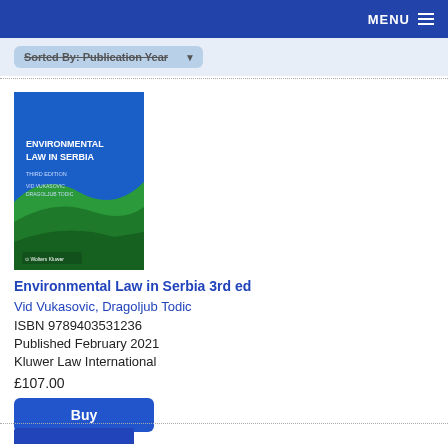MENU
Sorted By: Publication Year
[Figure (illustration): Book cover of Environmental Law in Serbia, Third Edition, by Vid Vukasovic and Dragoljub Todic. Blue and green design with Wolters Kluwer logo at bottom.]
Environmental Law in Serbia 3rd ed
Vid Vukasovic, Dragoljub Todic
ISBN 9789403531236
Published February 2021
Kluwer Law International
£107.00
Buy